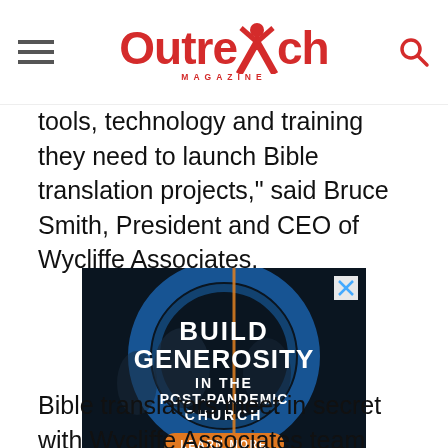Outreach Magazine
tools, technology and training they need to launch Bible translation projects," said Bruce Smith, President and CEO of Wycliffe Associates.
[Figure (photo): Advertisement for 'Build Generosity in the Post-Pandemic Church' with a Learn More button, dark blue circular design with people in background]
Bible translators meet in secret with Wycliffe Associates team members to map out translation